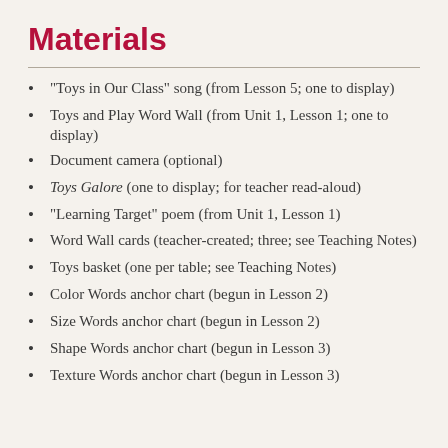Materials
"Toys in Our Class" song (from Lesson 5; one to display)
Toys and Play Word Wall (from Unit 1, Lesson 1; one to display)
Document camera (optional)
Toys Galore (one to display; for teacher read-aloud)
"Learning Target" poem (from Unit 1, Lesson 1)
Word Wall cards (teacher-created; three; see Teaching Notes)
Toys basket (one per table; see Teaching Notes)
Color Words anchor chart (begun in Lesson 2)
Size Words anchor chart (begun in Lesson 2)
Shape Words anchor chart (begun in Lesson 3)
Texture Words anchor chart (begun in Lesson 3)